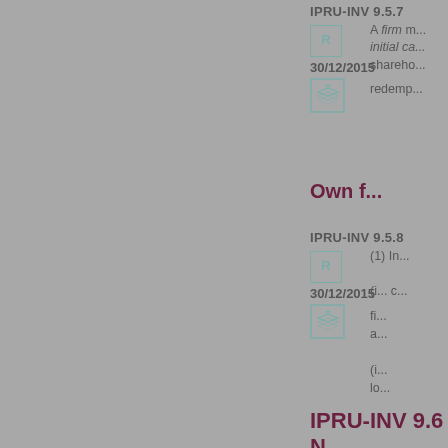IPRU-INV 9.5.7
R
30/12/2015
A firm m... initial ca...
shareho... redemp...
Own f...
IPRU-INV 9.5.8
R
30/12/2015
(1) In...
(i... c... fi... a...
(i... lo...
IPRU-INV 9.6 N... REQUIREMEN...